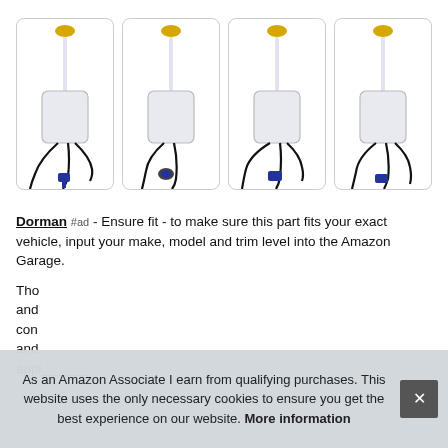[Figure (photo): Four product photos of a Dorman windshield washer reservoir with yellow cap, translucent white tank, and black wiring harness/pump assembly, shown from slightly different angles]
Dorman #ad - Ensure fit - to make sure this part fits your exact vehicle, input your make, model and trim level into the Amazon Garage.
Tho... and... con... and... appl...
As an Amazon Associate I earn from qualifying purchases. This website uses the only necessary cookies to ensure you get the best experience on our website. More information